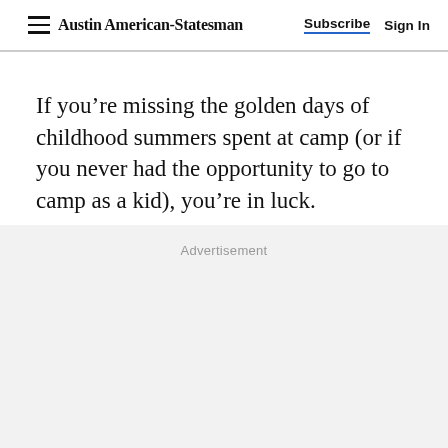Austin American-Statesman | Subscribe | Sign In
If you’re missing the golden days of childhood summers spent at camp (or if you never had the opportunity to go to camp as a kid), you’re in luck.
Advertisement